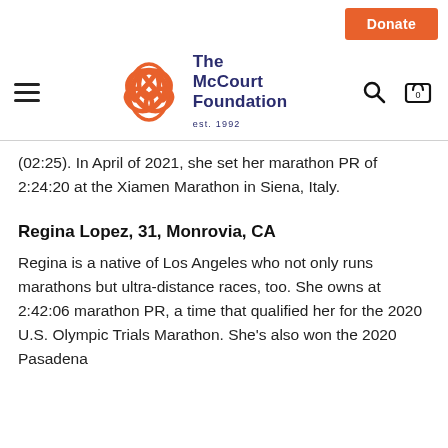Donate
[Figure (logo): The McCourt Foundation logo with orange triquetra symbol and navy text reading 'The McCourt Foundation est. 1992']
(02:25). In April of 2021, she set her marathon PR of 2:24:20 at the Xiamen Marathon in Siena, Italy.
Regina Lopez, 31, Monrovia, CA
Regina is a native of Los Angeles who not only runs marathons but ultra-distance races, too. She owns at 2:42:06 marathon PR, a time that qualified her for the 2020 U.S. Olympic Trials Marathon. She's also won the 2020 Pasadena